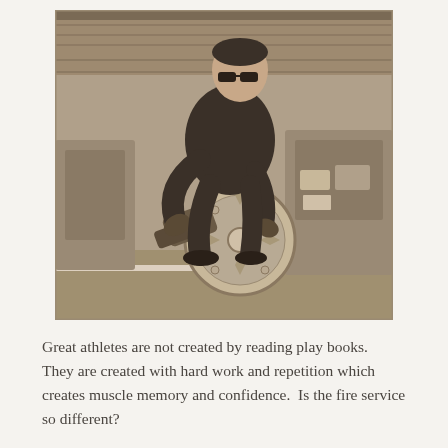[Figure (photo): Sepia-toned vintage photograph of a man wearing sunglasses, leaning forward in a crouching starting position, wearing dark athletic clothing, with machinery or equipment visible in the background. The scene appears to be outdoors on a track or similar surface.]
Great athletes are not created by reading play books.  They are created with hard work and repetition which creates muscle memory and confidence.  Is the fire service so different?